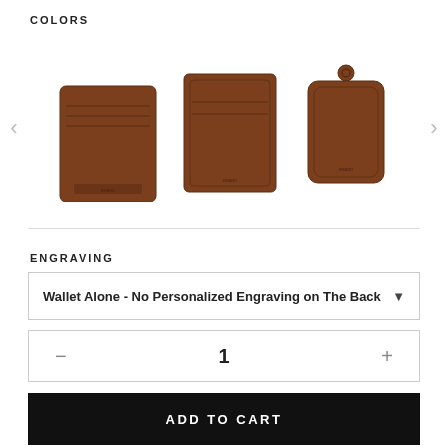COLORS
[Figure (photo): Three brown leather products shown in a carousel: a magic wallet (back view), a card holder (front view), and a luggage tag. Left and right navigation arrows flank the images.]
ENGRAVING
Wallet Alone - No Personalized Engraving on The Back
1
ADD TO CART